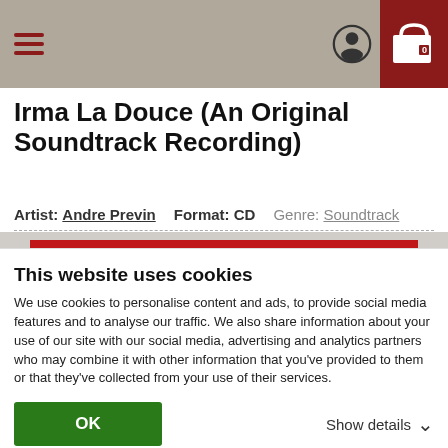Irma La Douce (An Original Soundtrack Recording)
Artist: Andre Previn   Format: CD   Genre: Soundtrack
[Figure (photo): Black and white photograph showing two people from the movie Irma La Douce, on a red background. Left side shows a man in police cap, right side shows two figures near a door.]
This website uses cookies
We use cookies to personalise content and ads, to provide social media features and to analyse our traffic. We also share information about your use of our site with our social media, advertising and analytics partners who may combine it with other information that you've provided to them or that they've collected from your use of their services.
OK
Show details